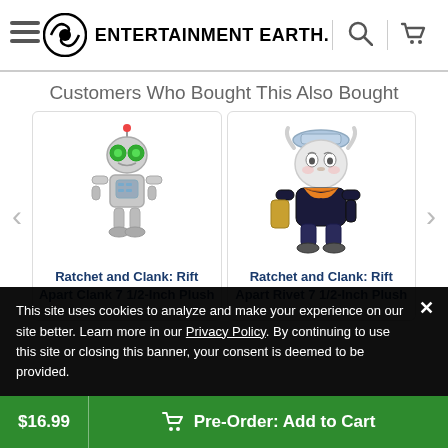Entertainment Earth
Customers Who Bought This Also Bought
[Figure (illustration): Product image of Ratchet and Clank: Rift Apart Clank 7 1/2-Inch Plush toy figure, a small silver robot with green eyes and red antenna]
Ratchet and Clank: Rift Apart Clank 7 1/2-Inch Plush
[Figure (illustration): Product image of Ratchet and Clank: Rift Apart Rivet 7 1/2-Inch Plush toy figure, a character with white fur, blue hat, and orange jacket]
Ratchet and Clank: Rift Apart Rivet 7 1/2-Inch Plush
This site uses cookies to analyze and make your experience on our site better. Learn more in our Privacy Policy. By continuing to use this site or closing this banner, your consent is deemed to be provided.
$16.99  Pre-Order: Add to Cart